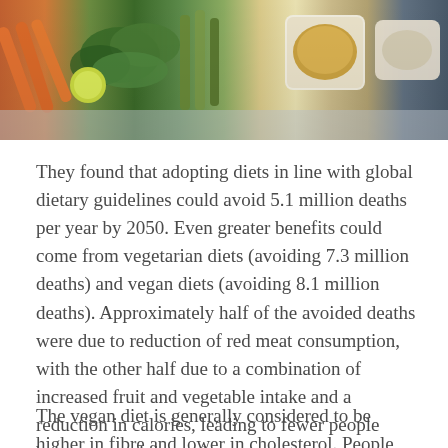[Figure (photo): Overhead view of vegetables including carrots, leafy greens, cucumber, lime, and dipping sauces on a wooden board with a plaid cloth background.]
They found that adopting diets in line with global dietary guidelines could avoid 5.1 million deaths per year by 2050. Even greater benefits could come from vegetarian diets (avoiding 7.3 million deaths) and vegan diets (avoiding 8.1 million deaths). Approximately half of the avoided deaths were due to reduction of red meat consumption, with the other half due to a combination of increased fruit and vegetable intake and a reduction in calories, leading to fewer people being overweight or obese.
The vegan diet is generally considered to be higher in fibre and lower in cholesterol. People who eat vegan or